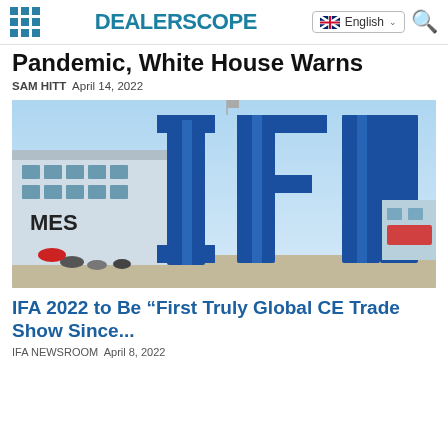DEALERSCOPE
Pandemic, White House Warns
SAM HITT  April 14, 2022
[Figure (photo): Large blue IFA letters signage in front of the Messe building under a blue sky, with people visible at the base.]
IFA 2022 to Be “First Truly Global CE Trade Show Since...
IFA NEWSROOM  April 8, 2022